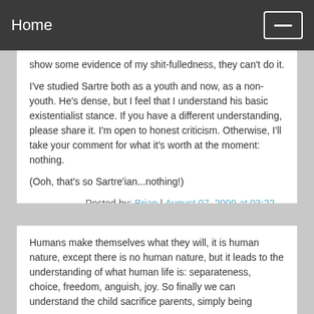Home
show some evidence of my shit-fulledness, they can't do it.
I've studied Sartre both as a youth and now, as a non-youth. He's dense, but I feel that I understand his basic existentialist stance. If you have a different understanding, please share it. I'm open to honest criticism. Otherwise, I'll take your comment for what it's worth at the moment: nothing.
(Ooh, that's so Sartre'ian...nothing!)
Posted by: Brian | August 07, 2009 at 03:22 PM
Humans make themselves what they will, it is human nature, except there is no human nature, but it leads to the understanding of what human life is: separateness, choice, freedom, anguish, joy. So finally we can understand the child sacrifice parents, simply being